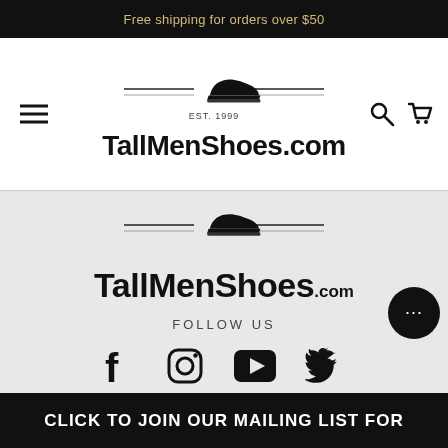Free shipping for orders over $50
[Figure (logo): TallMenShoes.com logo with shoe graphic, EST. 1999, horizontal lines]
[Figure (logo): TallMenShoes.com footer logo with shoe graphic and horizontal lines]
FOLLOW US
[Figure (infographic): Social media icons: Facebook, Instagram, YouTube, Twitter]
CLICK TO JOIN OUR MAILING LIST FOR